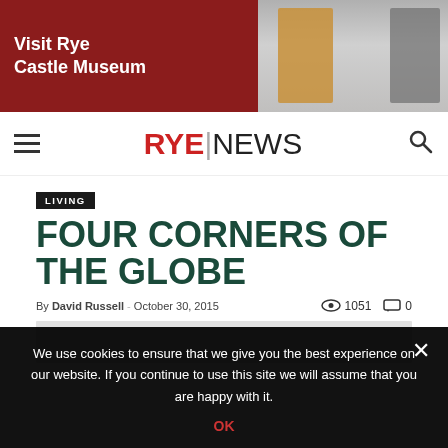[Figure (photo): Visit Rye Castle Museum banner advertisement showing costumed historical figures]
RYE|NEWS
LIVING
FOUR CORNERS OF THE GLOBE
By David Russell - October 30, 2015    1051    0
[Figure (photo): Article image placeholder]
We use cookies to ensure that we give you the best experience on our website. If you continue to use this site we will assume that you are happy with it.
OK